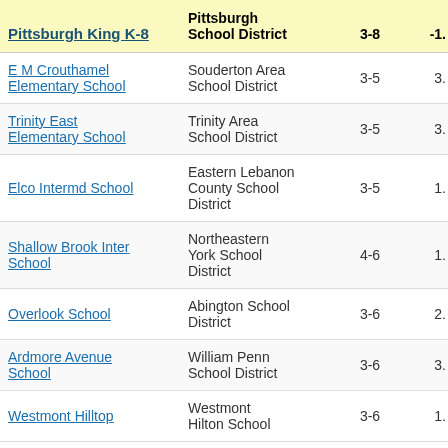| School | District | Grades | Value |
| --- | --- | --- | --- |
| Pittsburgh King K-8 | Pittsburgh School District | 3-8 | -1. |
| E M Crouthamel Elementary School | Souderton Area School District | 3-5 | 3. |
| Trinity East Elementary School | Trinity Area School District | 3-5 | 3. |
| Elco Intermd School | Eastern Lebanon County School District | 3-5 | 1. |
| Shallow Brook Inter School | Northeastern York School District | 4-6 | 1. |
| Overlook School | Abington School District | 3-6 | 2. |
| Ardmore Avenue School | William Penn School District | 3-6 | 3. |
| Westmont Hilltop | Westmont Hilton School District | 3-6 | 1. |